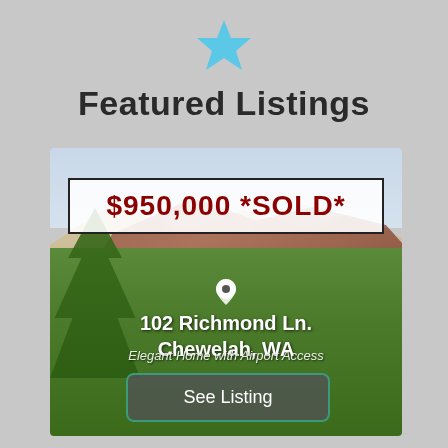[Figure (illustration): Blue star icon centered at top of page]
Featured Listings
[Figure (photo): Featured real estate listing card showing a house photo with price overlay '$950,000 *SOLD*', address '102 Richmond Ln. Chewelah, WA', description 'Elegant Home with Airport Access', and a 'See Listing' button]
$950,000 *SOLD*
102 Richmond Ln.
Chewelah, WA
Elegant Home with Airport Access
See Listing